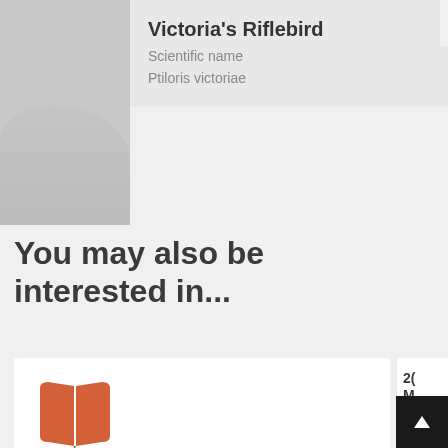Victoria's Riflebird
Scientific name
Ptiloris victoriae
You may also be interested in...
[Figure (illustration): Orange open book icon]
Ornithological notes. III. On the nidification of Megaloprepia magnifica, the Magnificent Fruit Pigeon